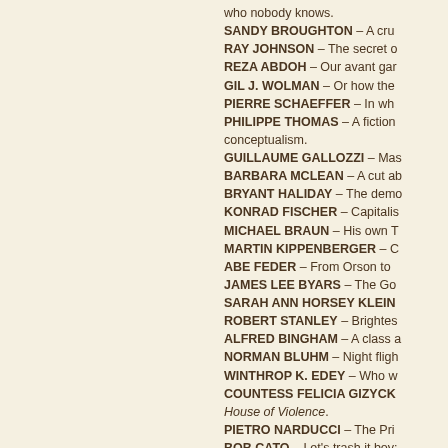who nobody knows.
SANDY BROUGHTON – A cru
RAY JOHNSON – The secret o
REZA ABDOH – Our avant gar
GIL J. WOLMAN – Or how the
PIERRE SCHAEFFER – In wh
PHILIPPE THOMAS – A fiction conceptualism.
GUILLAUME GALLOZZI – Mas
BARBARA MCLEAN – A cut ab
BRYANT HALIDAY – The demo
KONRAD FISCHER – Capitalis
MICHAEL BRAUN – His own T
MARTIN KIPPENBERGER – C
ABE FEDER – From Orson to
JAMES LEE BYARS – The Go
SARAH ANN HORSEY KLEIN
ROBERT STANLEY – Brightes
ALFRED BINGHAM – A class a
NORMAN BLUHM – Night fligh
WINTHROP K. EDEY – Who w
COUNTESS FELICIA GIZYCK House of Violence.
PIETRO NARDUCCI – The Pri
BOB CATO – Let's trash it boy:
PIERRE ANDRÉ-MAY – His or
SAM SHAW – Or how to take t
DAVID SEIDNER – Gone the m